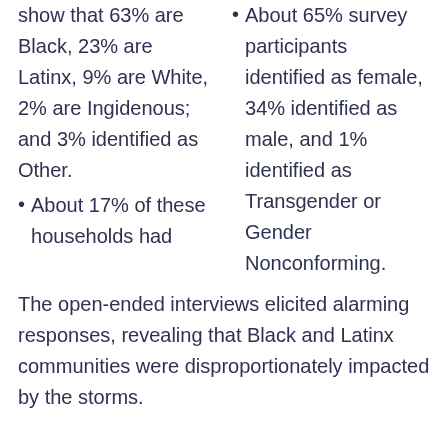show that 63% are Black, 23% are Latinx, 9% are White, 2% are Ingidenous; and 3% identified as Other.
About 17% of these households had
About 65% survey participants identified as female, 34% identified as male, and 1% identified as Transgender or Gender Nonconforming.
The open-ended interviews elicited alarming responses, revealing that Black and Latinx communities were disproportionately impacted by the storms.